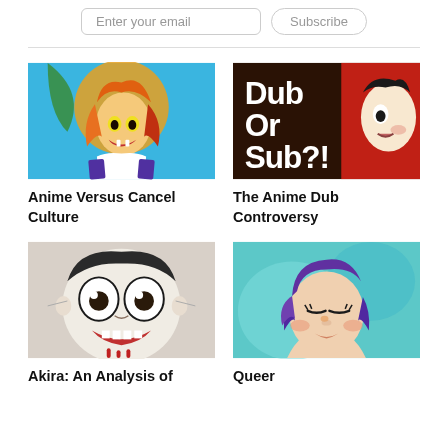Enter your email
Subscribe
[Figure (illustration): Anime character with colorful orange and red hair, fangs, blue background - article thumbnail for Anime Versus Cancel Culture]
Anime Versus Cancel Culture
[Figure (illustration): Dark background with bold white text saying Dub Or Sub?! with an anime character on the right - thumbnail for The Anime Dub Controversy]
The Anime Dub Controversy
[Figure (illustration): Manga-style character with wide eyes and open mouth showing shock expression - thumbnail for Akira article]
Akira: An Analysis of
[Figure (illustration): Anime character with purple hair against a teal/aqua background with eyes closed - thumbnail for Queer article]
Queer